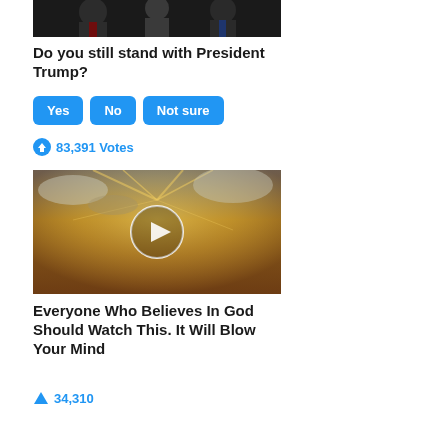[Figure (photo): Photo of people in suits, appears to show politicians, dark background]
Do you still stand with President Trump?
Yes  No  Not sure
83,391 Votes
[Figure (photo): Video thumbnail showing sunlight breaking through clouds with a play button overlay]
Everyone Who Believes In God Should Watch This. It Will Blow Your Mind
34,310